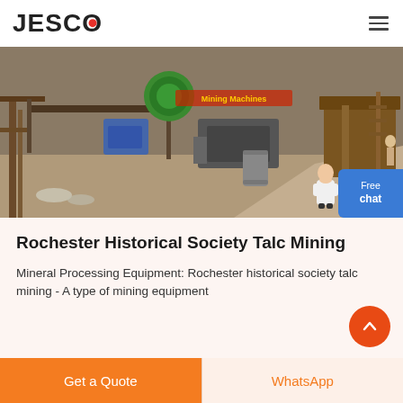JESCO
[Figure (photo): Mining site with heavy equipment, conveyor structures, machinery and a dirt road. Green circular sieve/screen visible at top center. Brown and rusty metal structures throughout.]
Rochester Historical Society Talc Mining
Mineral Processing Equipment: Rochester historical society talc mining - A type of mining equipment